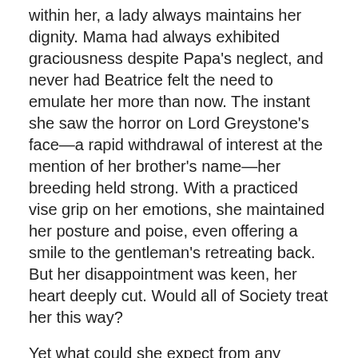within her, a lady always maintains her dignity. Mama had always exhibited graciousness despite Papa's neglect, and never had Beatrice felt the need to emulate her more than now. The instant she saw the horror on Lord Greystone's face—a rapid withdrawal of interest at the mention of her brother's name—her breeding held strong. With a practiced vise grip on her emotions, she maintained her posture and poise, even offering a smile to the gentleman's retreating back. But her disappointment was keen, her heart deeply cut. Would all of Society treat her this way?
Yet what could she expect from any gentleman, especially an eligible peer? Did not all noblemen spend their lives and fortunes as it suited them? Did they not all sit in church every Sunday, as duty demanded, and yet utterly neglect their duty to their families?
But daughters also had a duty—to marry well so that the family might benefit. Beatrice had always assumed her parents would find a husband for her, preferably someone